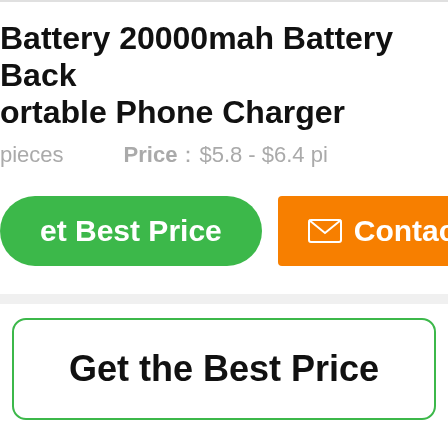Battery 20000mah Battery Back portable Phone Charger
pieces   Price：$5.8 - $6.4 pi
[Figure (other): Two call-to-action buttons: a green 'Get Best Price' button and an orange 'Contact' button with envelope icon]
Get the Best Price